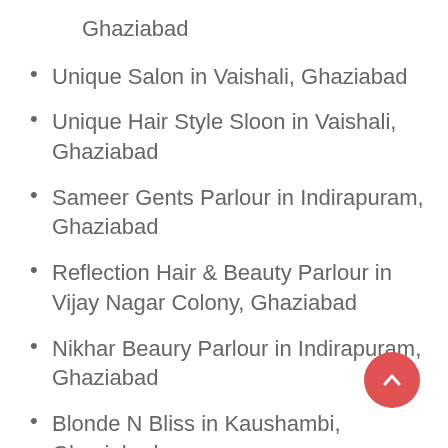Ghaziabad
Unique Salon in Vaishali, Ghaziabad
Unique Hair Style Sloon in Vaishali, Ghaziabad
Sameer Gents Parlour in Indirapuram, Ghaziabad
Reflection Hair & Beauty Parlour in Vijay Nagar Colony, Ghaziabad
Nikhar Beaury Parlour in Indirapuram, Ghaziabad
Blonde N Bliss in Kaushambi, Ghaziabad
Divine Divas Hair Salon And Beauty Care in Indirapuram, Ghaziabad
Shora Beauty Parlour in Kaushambi,